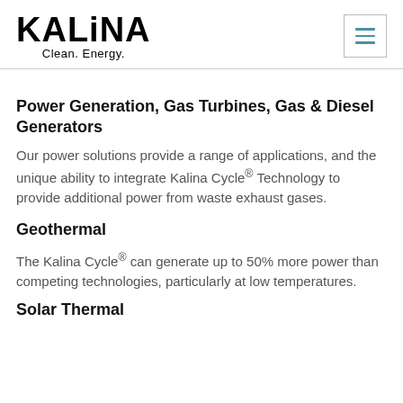KALINA Clean. Energy.
Power Generation, Gas Turbines, Gas & Diesel Generators
Our power solutions provide a range of applications, and the unique ability to integrate Kalina Cycle® Technology to provide additional power from waste exhaust gases.
Geothermal
The Kalina Cycle® can generate up to 50% more power than competing technologies, particularly at low temperatures.
Solar Thermal